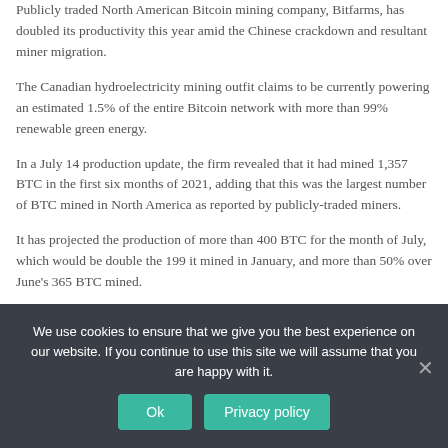Publicly traded North American Bitcoin mining company, Bitfarms, has doubled its productivity this year amid the Chinese crackdown and resultant miner migration.
The Canadian hydroelectricity mining outfit claims to be currently powering an estimated 1.5% of the entire Bitcoin network with more than 99% renewable green energy.
In a July 14 production update, the firm revealed that it had mined 1,357 BTC in the first six months of 2021, adding that this was the largest number of BTC mined in North America as reported by publicly-traded miners.
It has projected the production of more than 400 BTC for the month of July, which would be double the 199 it mined in January, and more than 50% over June's 365 BTC mined.
We use cookies to ensure that we give you the best experience on our website. If you continue to use this site we will assume that you are happy with it.